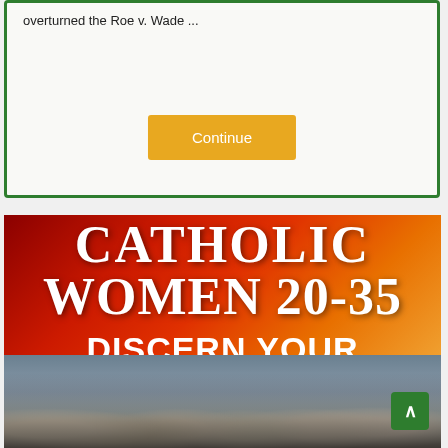overturned the Roe v. Wade ...
Continue
[Figure (illustration): Advertisement banner for Catholic Women 20-35 Discern Your Call 2022, with red-to-orange gradient background and text overlay, plus a photo of smiling nuns in habits at the bottom]
CATHOLIC WOMEN 20-35
DISCERN YOUR CALL 2022